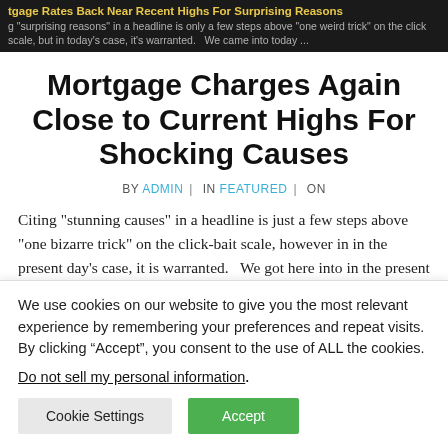tgage Rates Back Near Recent Highs For Surprising Reasons — g "surprising reasons" in a headline is only a few steps above "one weird trick" on the click scale, but in today's case, it's warranted.  We came into today ...
Mortgage Charges Again Close to Current Highs For Shocking Causes
BY ADMIN | IN FEATURED | ON
Citing "stunning causes" in a headline is just a few steps above "one bizarre trick" on the click-bait scale, however in in the present day's case, it is warranted.   We got here into in the present day anticipating some mixture of the Retail
We use cookies on our website to give you the most relevant experience by remembering your preferences and repeat visits. By clicking “Accept”, you consent to the use of ALL the cookies.
Do not sell my personal information.
Cookie Settings  Accept